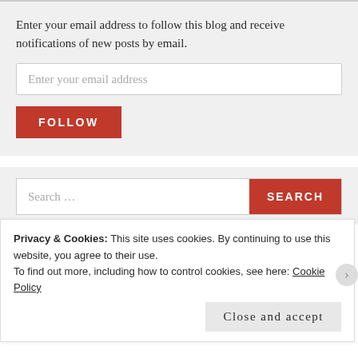Enter your email address to follow this blog and receive notifications of new posts by email.
Enter your email address
FOLLOW
Search ...
SEARCH
Privacy & Cookies: This site uses cookies. By continuing to use this website, you agree to their use.
To find out more, including how to control cookies, see here: Cookie Policy
Close and accept